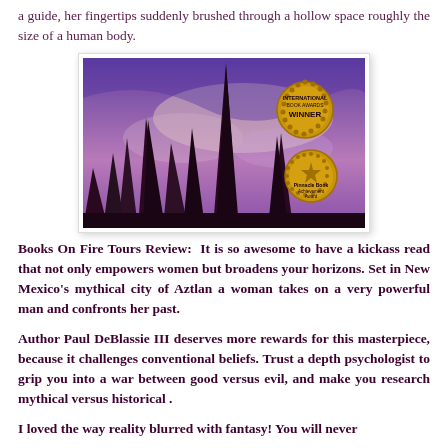a guide, her fingertips suddenly brushed through a hollow space roughly the size of a human body.
[Figure (illustration): Book cover for a novel set in New Mexico's mythical city of Aztlan, showing dark rocky spires against a purple and pink sky. Two gold award medallions are visible: 'International Book Awards Winner' and 'Pinnacle Book Achievement Award'.]
Books On Fire Tours Review:  It is so awesome to have a kickass read that not only empowers women but broadens your horizons. Set in New Mexico's mythical city of Aztlan a woman takes on a very powerful man and confronts her past.
Author Paul DeBlassie III deserves more rewards for this masterpiece, because it challenges conventional beliefs. Trust a depth psychologist to grip you into a war between good versus evil, and make you research mythical versus historical .
I loved the way reality blurred with fantasy! You will never